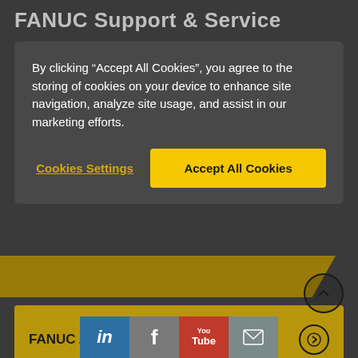FANUC Support & Service
By clicking “Accept All Cookies”, you agree to the storing of cookies on your device to enhance site navigation, analyze site usage, and assist in our marketing efforts.
Cookies Settings
Accept All Cookies
FANUC Academy: 100% OEM training
[Figure (screenshot): Social media icons bar: LinkedIn (blue), Facebook (grey), YouTube (red), Email (grey-teal)]